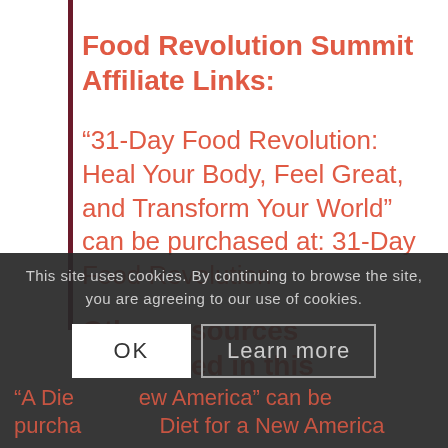Food Revolution Summit Affiliate Links:
“31-Day Food Revolution: Heal Your Body, Feel Great, and Transform Your World” can be purchased at: 31-Day Food Revolution
Other resources mentioned in this episode –
“A Diet for a New America” can be purchased at: Diet for a New America
This site uses cookies. By continuing to browse the site, you are agreeing to our use of cookies.